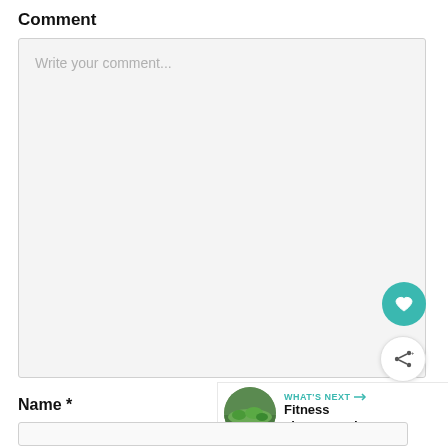Comment
Write your comment...
WHAT'S NEXT → Fitness classes and...
Name *